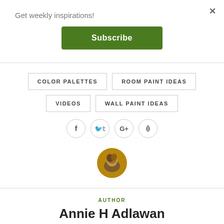Get weekly inspirations!
Subscribe
COLOR PALETTES
ROOM PAINT IDEAS
VIDEOS
WALL PAINT IDEAS
[Figure (illustration): Social media icons: Facebook, Twitter, Google+, Pinterest in circular outlines]
[Figure (photo): Circular author avatar photo]
AUTHOR
Annie H Adlawan